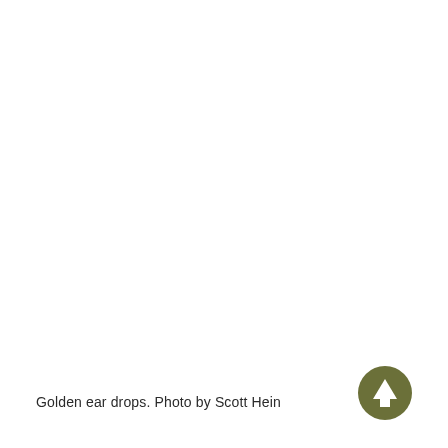[Figure (photo): Large white/blank photograph area occupying most of the page — the photo of golden ear drops by Scott Hein appears washed out/white in this rendering.]
Golden ear drops. Photo by Scott Hein
[Figure (other): Olive/dark-green circular button with a white upward-pointing arrow icon in the bottom-right corner.]